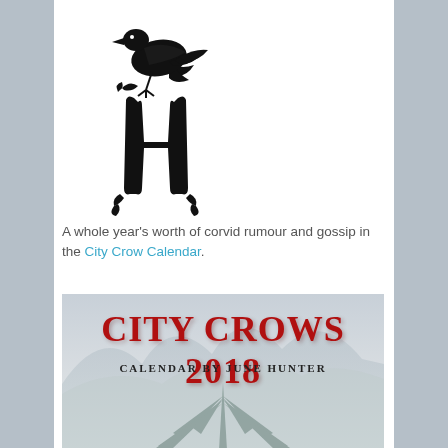[Figure (logo): Black crow perched on decorative letter H monogram logo for June Hunter Images]
A whole year's worth of corvid rumour and gossip in the City Crow Calendar.
[Figure (illustration): City Crows 2018 Calendar by June Hunter — book cover with red text on misty mountain background with agave plant at bottom]